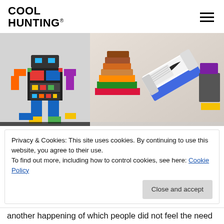COOL HUNTING®
[Figure (photo): Two-panel image: left panel shows a colorful paper/toy robot figure; right panel shows stacked novelty sneaker sculptures with a Nike Air Jordan shoe and other colorful block-like shoe models.]
Privacy & Cookies: This site uses cookies. By continuing to use this website, you agree to their use.
To find out more, including how to control cookies, see here: Cookie Policy
Close and accept
another happening of which people did not feel the need